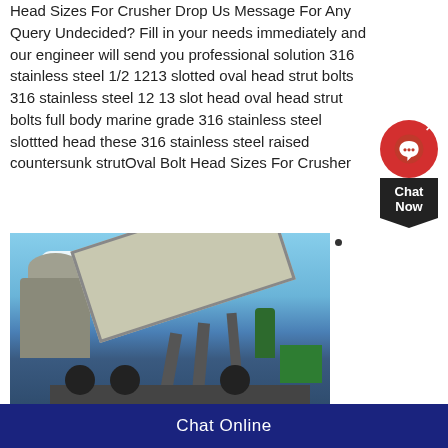Head Sizes For Crusher Drop Us Message For Any Query Undecided? Fill in your needs immediately and our engineer will send you professional solution 316 stainless steel 1/2 1213 slotted oval head strut bolts 316 stainless steel 12 13 slot head oval head strut bolts full body marine grade 316 stainless steel slottted head these 316 stainless steel raised countersunk strutOval Bolt Head Sizes For Crusher
[Figure (photo): Industrial mobile crushing and screening plant on a truck, with a cone crusher on the left and a large vibrating screen/conveyor structure, photographed outdoors against a blue sky with trees and a green container visible in the background.]
Chat Online